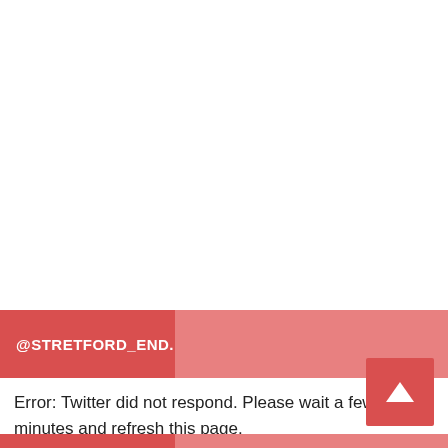[Figure (screenshot): Twitter widget bar with @STRETFORD_END... handle in dark red on the left and lighter red on the right]
Error: Twitter did not respond. Please wait a few minutes and refresh this page.
[Figure (other): Scroll-to-top button arrow in red square]
[Figure (other): Bottom partial bar in red, matching the Twitter widget style]